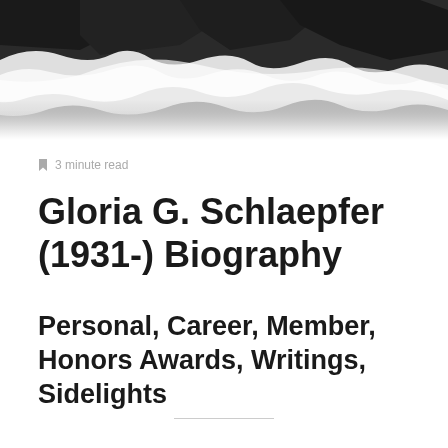[Figure (photo): Aerial photo of ocean waves crashing on dark rocky shore, black and white tones]
🔖 3 minute read
Gloria G. Schlaepfer (1931-) Biography
Personal, Career, Member, Honors Awards, Writings, Sidelights